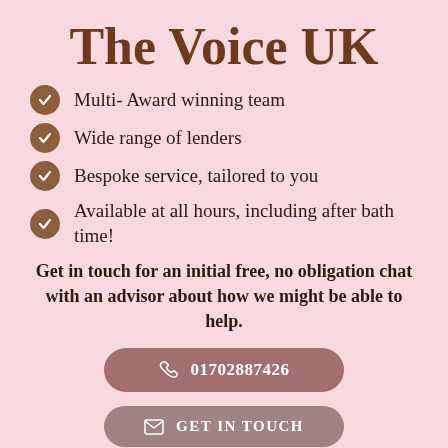The Voice UK
Multi- Award winning team
Wide range of lenders
Bespoke service, tailored to you
Available at all hours, including after bath time!
Get in touch for an initial free, no obligation chat with an advisor about how we might be able to help.
01702887426
GET IN TOUCH